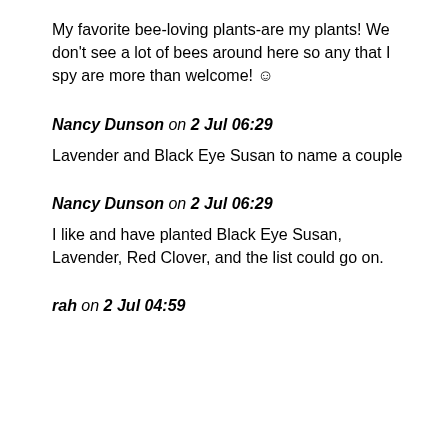My favorite bee-loving plants-are my plants! We don't see a lot of bees around here so any that I spy are more than welcome! ☺
Nancy Dunson on 2 Jul 06:29
Lavender and Black Eye Susan to name a couple
Nancy Dunson on 2 Jul 06:29
I like and have planted Black Eye Susan, Lavender, Red Clover, and the list could go on.
rah on 2 Jul 04:59